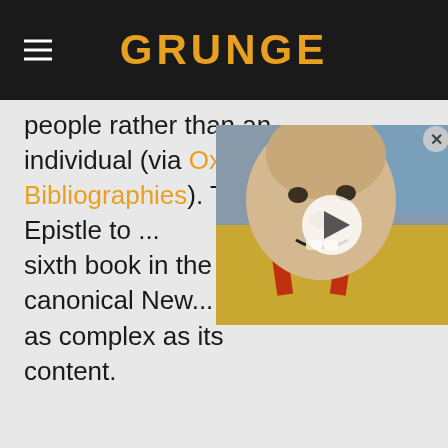GRUNGE
people rather than an individual (via Oxford Bibliographies). The Epistle to ... sixth book in the canonical New... as complex as its content.
[Figure (screenshot): Video overlay thumbnail showing a bald man with suspenders, with a play button in the center and a close (X) button in the top right corner]